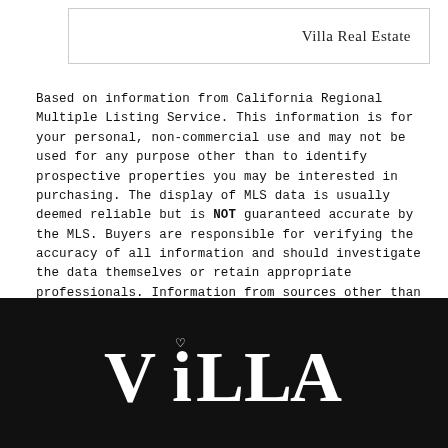Villa Real Estate
Based on information from California Regional Multiple Listing Service. This information is for your personal, non-commercial use and may not be used for any purpose other than to identify prospective properties you may be interested in purchasing. The display of MLS data is usually deemed reliable but is NOT guaranteed accurate by the MLS. Buyers are responsible for verifying the accuracy of all information and should investigate the data themselves or retain appropriate professionals. Information from sources other than the Listing Agent may have been included in the MLS data. Unless otherwise specified in writing, the Broker/Agent has not and will not verify any information obtained from other sources. The Broker/Agent providing the information contained herein may or may not have been the Listing and/or Selling Agent. ©2021 California Regional Multiple Listing Service, Inc. All rights reserved. Last updated at Fri, 26 Aug 2022 05:06:01 GMT
[Figure (logo): VILLA logo in white text on black background]